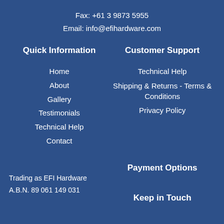Fax: +61 3 9873 5955
Email: info@efihardware.com
Quick Information
Home
About
Gallery
Testimonials
Technical Help
Contact
Customer Support
Technical Help
Shipping & Returns - Terms & Conditions
Privacy Policy
Trading as EFI Hardware
A.B.N. 89 061 149 031
Payment Options
Keep in Touch